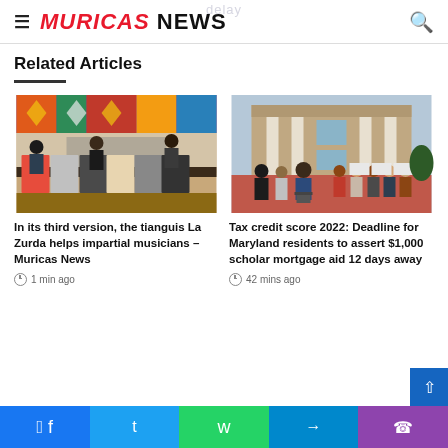MURICAS NEWS
Related Articles
[Figure (photo): People browsing vinyl records at a market stall indoors, colorful rugs in background]
In its third version, the tianguis La Zurda helps impartial musicians – Muricas News
1 min ago
[Figure (photo): Group of people standing outside a brick building with columns, one person at a podium, others holding signs]
Tax credit score 2022: Deadline for Maryland residents to assert $1,000 scholar mortgage aid 12 days away
42 mins ago